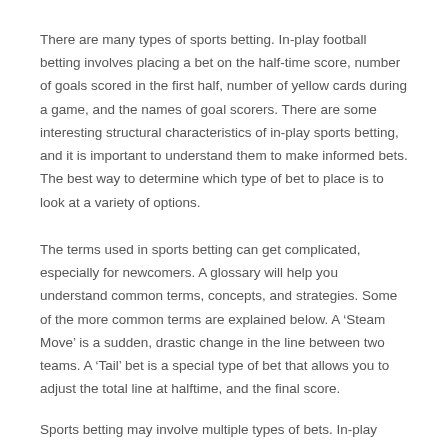There are many types of sports betting. In-play football betting involves placing a bet on the half-time score, number of goals scored in the first half, number of yellow cards during a game, and the names of goal scorers. There are some interesting structural characteristics of in-play sports betting, and it is important to understand them to make informed bets. The best way to determine which type of bet to place is to look at a variety of options.
The terms used in sports betting can get complicated, especially for newcomers. A glossary will help you understand common terms, concepts, and strategies. Some of the more common terms are explained below. A ‘Steam Move’ is a sudden, drastic change in the line between two teams. A ‘Tail’ bet is a special type of bet that allows you to adjust the total line at halftime, and the final score.
Sports betting may involve multiple types of bets. In-play